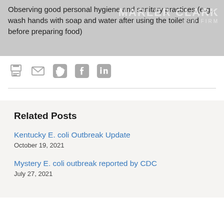Observing good personal hygiene and sanitary practices (e.g., wash hands with soap and water after using the toilet and before preparing food)
[Figure (other): Social sharing icons: print, email, Twitter, Facebook, LinkedIn]
Related Posts
Kentucky E. coli Outbreak Update
October 19, 2021
Mystery E. coli outbreak reported by CDC
July 27, 2021